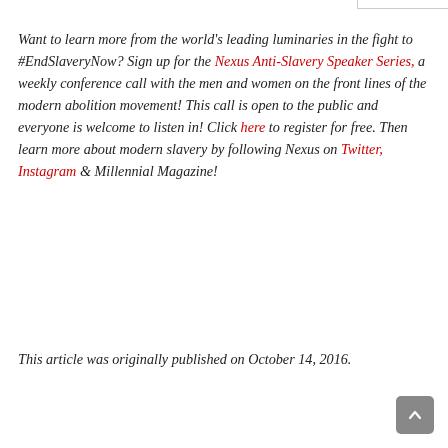Want to learn more from the world's leading luminaries in the fight to #EndSlaveryNow? Sign up for the Nexus Anti-Slavery Speaker Series, a weekly conference call with the men and women on the front lines of the modern abolition movement! This call is open to the public and everyone is welcome to listen in! Click here to register for free. Then learn more about modern slavery by following Nexus on Twitter, Instagram & Millennial Magazine!
This article was originally published on October 14, 2016.